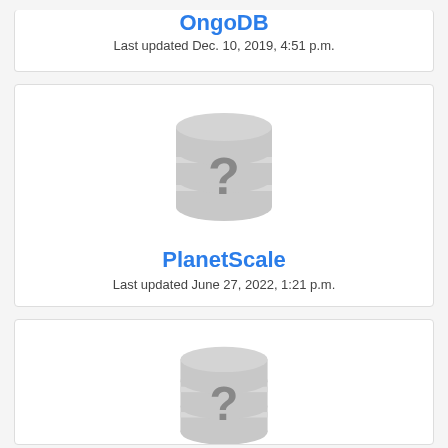OngoDB
Last updated Dec. 10, 2019, 4:51 p.m.
[Figure (illustration): Database icon with question mark representing PlanetScale]
PlanetScale
Last updated June 27, 2022, 1:21 p.m.
[Figure (illustration): Database icon with question mark representing third database entry]